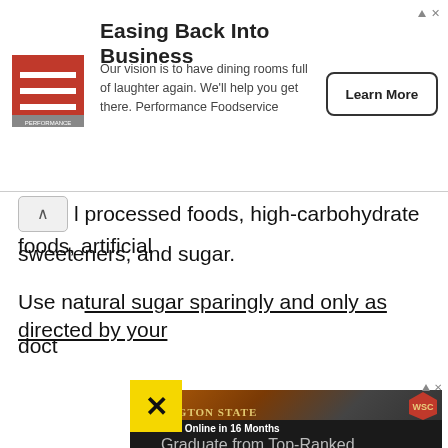[Figure (other): Performance Foodservice advertisement banner with logo, title 'Easing Back Into Business', description text, and Learn More button]
l processed foods, high-carbohydrate foods, artificial sweeteners, and sugar.
Use natural sugar sparingly and only as directed by your doct
[Figure (photo): Washington State University advertisement showing the WSU stone sign with cougar logo, headline 'Graduate Online in 16 Months', WSU logo, description text 'Graduate from Top-Ranked Washington State University 100% Online.' and arrow button]